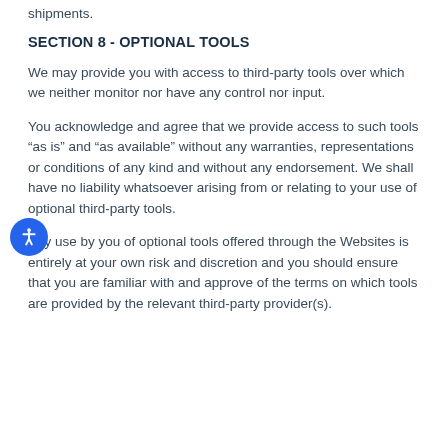shipments.
SECTION 8 - OPTIONAL TOOLS
We may provide you with access to third-party tools over which we neither monitor nor have any control nor input.
You acknowledge and agree that we provide access to such tools “as is” and “as available” without any warranties, representations or conditions of any kind and without any endorsement. We shall have no liability whatsoever arising from or relating to your use of optional third-party tools.
Any use by you of optional tools offered through the Websites is entirely at your own risk and discretion and you should ensure that you are familiar with and approve of the terms on which tools are provided by the relevant third-party provider(s).